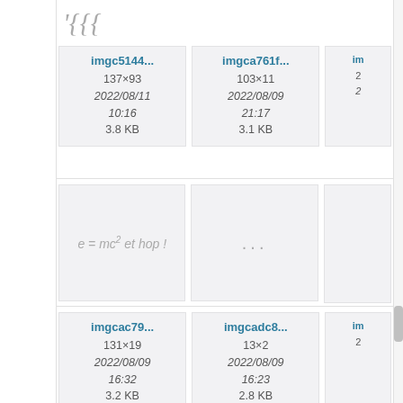'{{{
[Figure (screenshot): File thumbnail card: imgc5144... 137x93 2022/08/11 10:16 3.8 KB]
[Figure (screenshot): File thumbnail card: imgca761f... 103x11 2022/08/09 21:17 3.1 KB]
[Figure (screenshot): Partial file thumbnail card (cut off on right)]
[Figure (illustration): Preview showing formula: e = mc2 et hop !]
[Figure (illustration): Preview showing ellipsis: ...]
[Figure (screenshot): Partial preview card (cut off)]
[Figure (screenshot): File thumbnail card: imgcac79... 131x19 2022/08/09 16:32 3.2 KB]
[Figure (screenshot): File thumbnail card: imgcadc8... 13x2 2022/08/09 16:23 2.8 KB]
[Figure (screenshot): Partial file thumbnail card (cut off on right)]
[Figure (illustration): Preview showing: cot]
[Figure (illustration): Preview showing: <<]